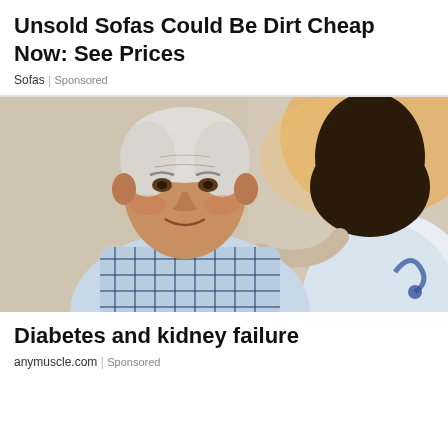Unsold Sofas Could Be Dirt Cheap Now: See Prices
Sofas | Sponsored
[Figure (photo): An elderly man in a blue plaid shirt smiling while a doctor in a white coat places a hand on his shoulder]
Diabetes and kidney failure
anymuscle.com | Sponsored